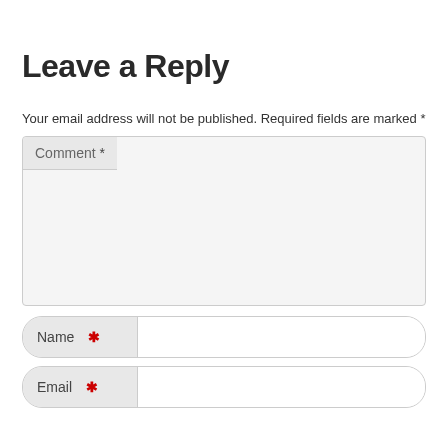Leave a Reply
Your email address will not be published. Required fields are marked *
[Figure (screenshot): Comment text area form field with label 'Comment *' in a light grey header area, large empty text input box below]
[Figure (screenshot): Name input field with red asterisk required marker, text box to the right]
[Figure (screenshot): Email input field with red asterisk required marker, text box to the right]